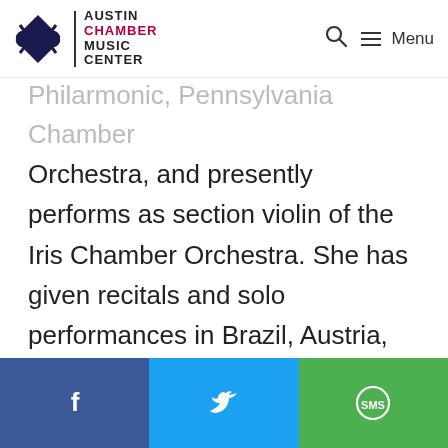[Figure (logo): Austin Chamber Music Center logo with star icon and text]
Philarmonic, Pennsylvania Chamber Orchestra, and presently performs as section violin of the Iris Chamber Orchestra. She has given recitals and solo performances in Brazil, Austria, France and the United States. Most recent performances include recitals with the Western Slope Concert Series and her CD Release Recital through the Colorado Music Festival.
[Figure (infographic): Social share bar with Facebook, Twitter, and SMS buttons]